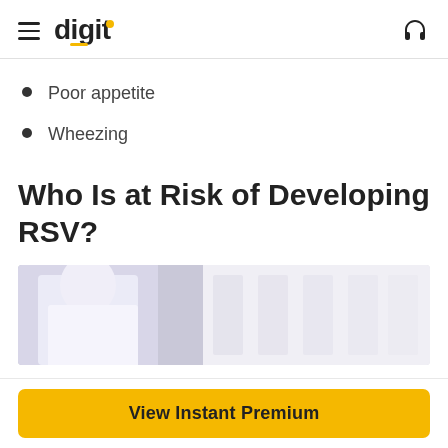digit
Poor appetite
Wheezing
Who Is at Risk of Developing RSV?
[Figure (photo): Partial view of a person in a white coat or shirt, possibly a medical professional, with a blurred background]
View Instant Premium